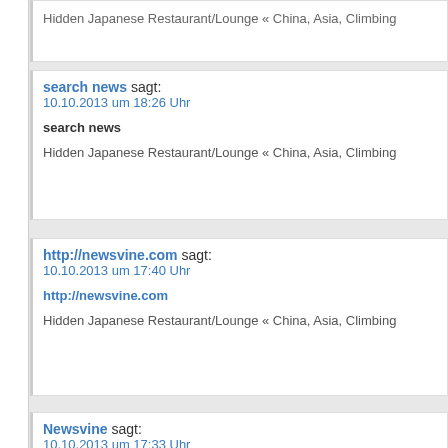Hidden Japanese Restaurant/Lounge « China, Asia, Climbing
search news sagt:
10.10.2013 um 18:26 Uhr

search news

Hidden Japanese Restaurant/Lounge « China, Asia, Climbing
http://newsvine.com sagt:
10.10.2013 um 17:40 Uhr

http://newsvine.com

Hidden Japanese Restaurant/Lounge « China, Asia, Climbing
Newsvine sagt:
10.10.2013 um 17:33 Uhr

Newsvine

Hidden Japanese Restaurant/Lounge « China, Asia, Climbing
Asian sex service sagt:
10.10.2013 um 16:58 Uhr